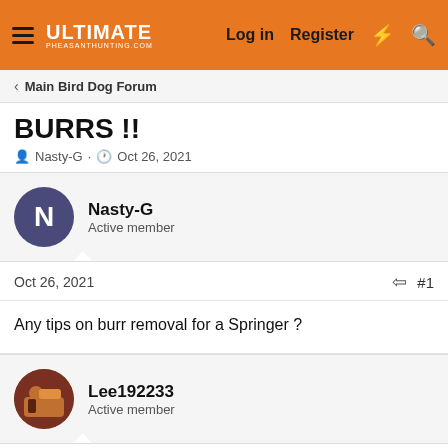ULTIMATE PHEASANTHUNTING.COM — Log in  Register
Main Bird Dog Forum
BURRS !!
Nasty-G · Oct 26, 2021
Nasty-G
Active member
Oct 26, 2021  #1
Any tips on burr removal for a Springer ?
Lee192233
Active member
Oct 26, 2021  #2
I bring along a fork. I can work the cockle burrs out of my Cockers pretty easily with it.